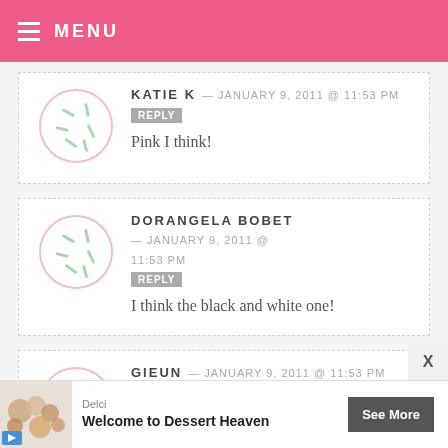MENU
KATIE K — JANUARY 9, 2011 @ 11:53 PM REPLY
Pink I think!
DORANGELA BOBET — JANUARY 9, 2011 @ 11:53 PM REPLY
I think the black and white one!
GIEUN — JANUARY 9, 2011 @ 11:53 PM REPLY
black
Delci Welcome to Dessert Heaven See More